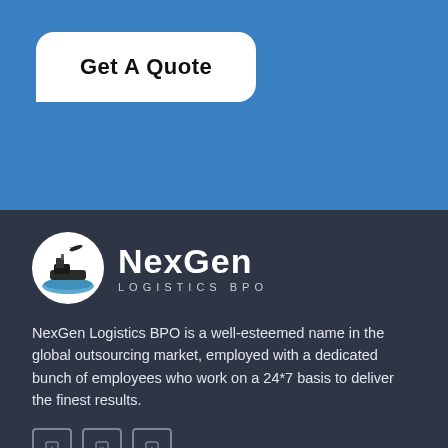Get A Quote
[Figure (logo): NexGen Logistics BPO logo — circular emblem with a cargo ship and airplane on white background, next to text 'NexGen LOGISTICS BPO']
NexGen Logistics BPO is a well-esteemed name in the global outsourcing market, employed with a dedicated bunch of employees who work on a 24*7 basis to deliver the finest results.
[Figure (infographic): Three social media icon boxes (Facebook, Twitter/X, LinkedIn or similar) displayed as small square icons with rounded borders in grey on dark background]